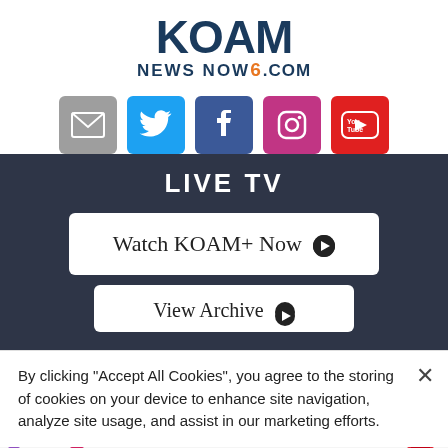[Figure (logo): KOAM NEWS NOW6.COM logo in dark navy blue with orange 6]
[Figure (infographic): Row of social media icons: email (gray), Twitter (blue), Facebook (dark blue), Instagram (pink), YouTube (red)]
LIVE TV
[Figure (screenshot): Watch KOAM+ Now button with play icon]
[Figure (screenshot): View Archive button (partially visible)]
By clicking “Accept All Cookies”, you agree to the storing of cookies on your device to enhance site navigation, analyze site usage, and assist in our marketing efforts.
[Figure (photo): MAC Cosmetics advertisement banner showing lipsticks with SHOP NOW button]